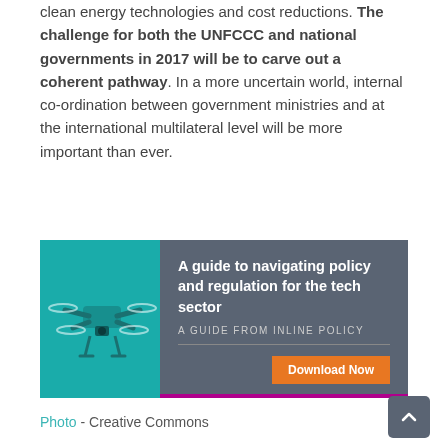clean energy technologies and cost reductions. The challenge for both the UNFCCC and national governments in 2017 will be to carve out a coherent pathway. In a more uncertain world, internal co-ordination between government ministries and at the international multilateral level will be more important than ever.
[Figure (infographic): Advertisement banner with teal background image of a drone on the left and dark grey panel on the right reading 'A guide to navigating policy and regulation for the tech sector. A GUIDE FROM INLINE POLICY. Download Now button.']
Photo - Creative Commons